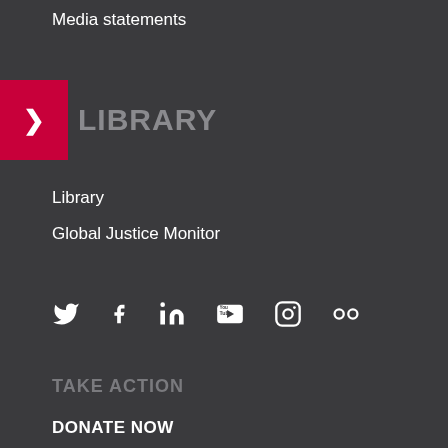Media statements
LIBRARY
Library
Global Justice Monitor
[Figure (infographic): Social media icons row: Twitter, Facebook, LinkedIn, YouTube, Instagram, Flickr]
TAKE ACTION
DONATE NOW